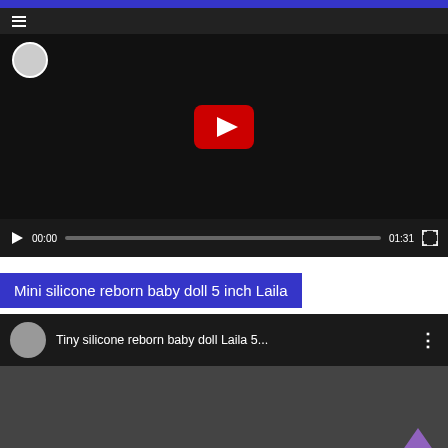[Figure (screenshot): YouTube video player showing a tiny silicone reborn baby doll being held in a hand. Player shows 00:00 current time and 01:31 total duration with paused state.]
Mini silicone reborn baby doll 5 inch Laila
[Figure (screenshot): YouTube video card showing 'Tiny silicone reborn baby doll Laila 5...' with channel avatar and a thumbnail of a small doll being held.]